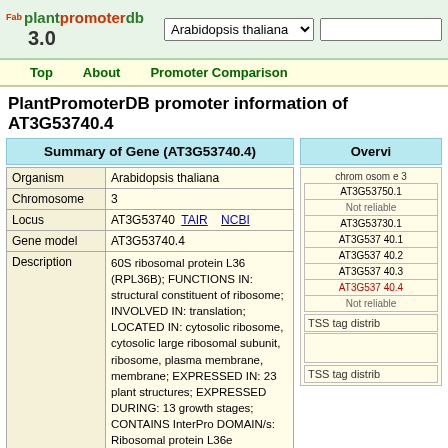plantpromoterdb 3.0 | Arabidopsis thaliana dropdown | navigation: Top, About, Promoter Comparison
PlantPromoterDB promoter information of AT3G53740.4
Summary of Gene (AT3G53740.4)
| Field | Value |
| --- | --- |
| Organism | Arabidopsis thaliana |
| Chromosome | 3 |
| Locus | AT3G53740  TAIR     NCBI |
| Gene model | AT3G53740.4 |
| Description | 60S ribosomal protein L36 (RPL36B); FUNCTIONS IN: structural constituent of ribosome; INVOLVED IN: translation; LOCATED IN: cytosolic ribosome, cytosolic large ribosomal subunit, ribosome, plasma membrane, membrane; EXPRESSED IN: 23 plant structures; EXPRESSED DURING: 13 growth stages; CONTAINS InterPro DOMAIN/s: Ribosomal protein L36e (InterPro:IPR000509); BEST Arabidopsis thaliana protein match is: 60S ribosomal protein L36 (RPL36A) (TAIR:AT2G37600.2); Has 586 Blast hits to 586 proteins in 196 species: Archae - 0; Bacteria - 0; Metazoa - 295; Fungi - 95; Plants - 95; Viruses - 0; Other Eukaryotes - 101 (source: NCBI BLink). |
Overview
chromosome 3
AT3G53750.1
Not reliable
AT3G53730.1
AT3G53740.1
AT3G53740.2
AT3G53740.3
AT3G53740.4
Not reliable
TSS tag distrib
TSS tag distrib